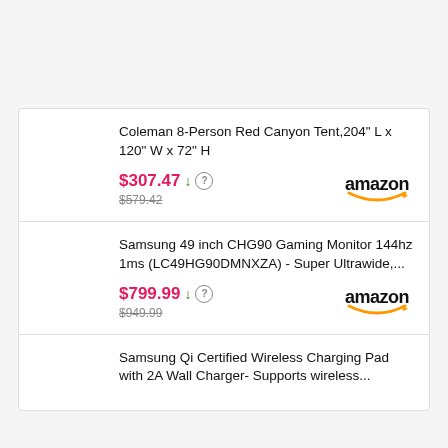Coleman 8-Person Red Canyon Tent,204" L x 120" W x 72" H
$307.47 ↓ ? $579.42 amazon
Samsung 49 inch CHG90 Gaming Monitor 144hz 1ms (LC49HG90DMNXZA) - Super Ultrawide,...
$799.99 ↓ ? $949.99 amazon
Samsung Qi Certified Wireless Charging Pad with 2A Wall Charger- Supports wireless...